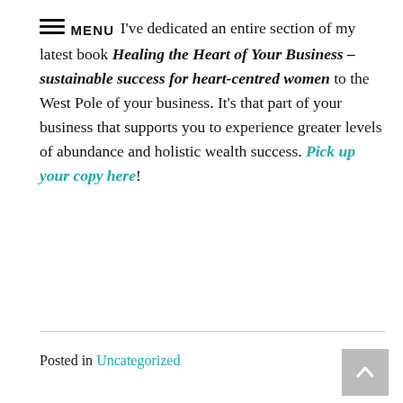I've dedicated an entire section of my latest book Healing the Heart of Your Business – sustainable success for heart-centred women to the West Pole of your business. It's that part of your business that supports you to experience greater levels of abundance and holistic wealth success. Pick up your copy here!
Posted in Uncategorized